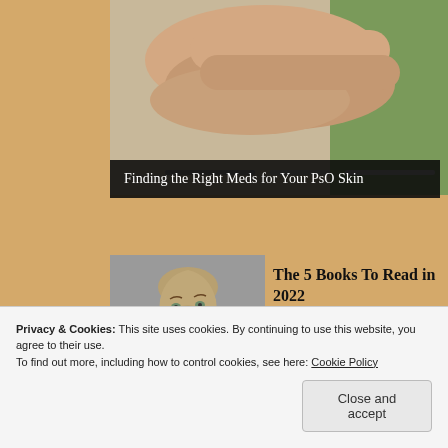[Figure (photo): Close-up of hands holding a book or device, with green background on the right side]
Finding the Right Meds for Your PsO Skin
[Figure (photo): Portrait of a blonde woman with red lipstick, looking sideways against a grey background]
The 5 Books To Read in 2022
Blinkist
Privacy & Cookies: This site uses cookies. By continuing to use this website, you agree to their use.
To find out more, including how to control cookies, see here: Cookie Policy
Close and accept